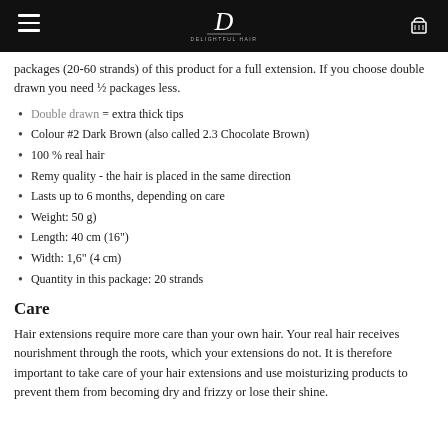Delightful Hair (logo and navigation)
packages (20-60 strands) of this product for a full extension. If you choose double drawn you need ½ packages less.
Double drawn = extra thick tips
Colour #2 Dark Brown (also called 2.3 Chocolate Brown)
100 % real hair
Remy quality - the hair is placed in the same direction
Lasts up to 6 months, depending on care
Weight: 50 g)
Length: 40 cm (16")
Width: 1,6" (4 cm)
Quantity in this package: 20 strands
Care
Hair extensions require more care than your own hair. Your real hair receives nourishment through the roots, which your extensions do not. It is therefore important to take care of your hair extensions and use moisturizing products to prevent them from becoming dry and frizzy or lose their shine.